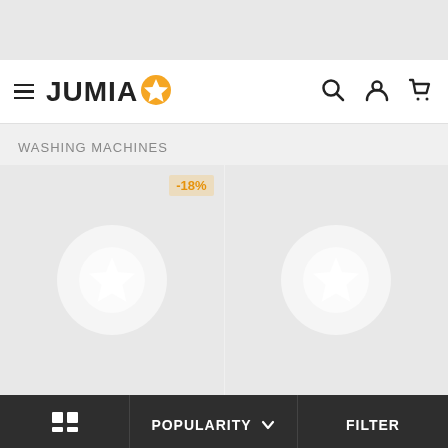[Figure (screenshot): Top gray navigation area placeholder]
JUMIA☆ [navigation bar with hamburger menu, search, user, cart icons]
WASHING MACHINES
[Figure (infographic): Two product placeholder cards for washing machines, first card has -18% discount badge]
POPULARITY ∨   FILTER
This website uses cookies. For further information on how we use cookies you can read our Privacy and Cookie notice